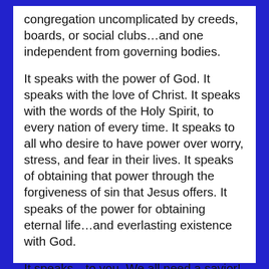congregation uncomplicated by creeds, boards, or social clubs…and one independent from governing bodies.
It speaks with the power of God. It speaks with the love of Christ. It speaks with the words of the Holy Spirit, to every nation of every time. It speaks to all who desire to have power over worry, stress, and fear in their lives. It speaks of obtaining that power through the forgiveness of sin that Jesus offers. It speaks of the power for obtaining eternal life…and everlasting existence with God.
It speaks…to you. We all need a savior! Come hear the good news of Jesus Christ!